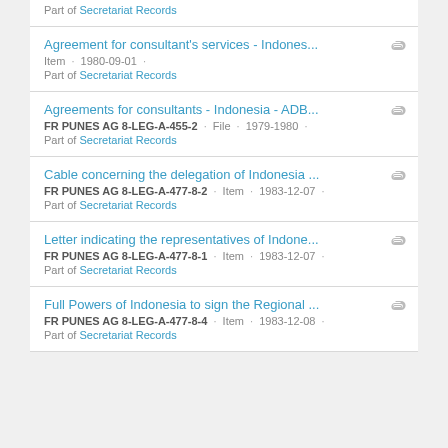Part of Secretariat Records
Agreement for consultant's services - Indones... · Item · 1980-09-01 · Part of Secretariat Records
Agreements for consultants - Indonesia - ADB... · FR PUNES AG 8-LEG-A-455-2 · File · 1979-1980 · Part of Secretariat Records
Cable concerning the delegation of Indonesia ... · FR PUNES AG 8-LEG-A-477-8-2 · Item · 1983-12-07 · Part of Secretariat Records
Letter indicating the representatives of Indone... · FR PUNES AG 8-LEG-A-477-8-1 · Item · 1983-12-07 · Part of Secretariat Records
Full Powers of Indonesia to sign the Regional ... · FR PUNES AG 8-LEG-A-477-8-4 · Item · 1983-12-08 · Part of Secretariat Records